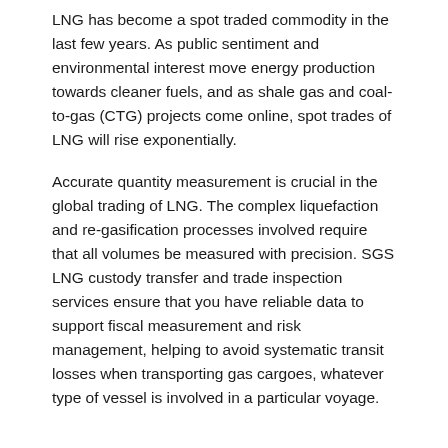LNG has become a spot traded commodity in the last few years. As public sentiment and environmental interest move energy production towards cleaner fuels, and as shale gas and coal-to-gas (CTG) projects come online, spot trades of LNG will rise exponentially.
Accurate quantity measurement is crucial in the global trading of LNG. The complex liquefaction and re-gasification processes involved require that all volumes be measured with precision. SGS LNG custody transfer and trade inspection services ensure that you have reliable data to support fiscal measurement and risk management, helping to avoid systematic transit losses when transporting gas cargoes, whatever type of vessel is involved in a particular voyage.
THE IMPORTANCE LNG TRADE INSPECTION
The wide variety of today's commercial LNG contract terms...